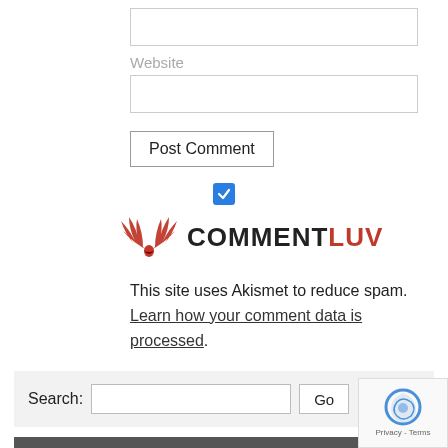[Figure (screenshot): Text input field (empty, top of page)]
Website
[Figure (screenshot): Website input field (empty)]
[Figure (screenshot): Post Comment button]
[Figure (screenshot): Blue checkbox (checked)]
[Figure (logo): CommentLuv logo with red wing graphic and COMMENTLUV text]
This site uses Akismet to reduce spam. Learn how your comment data is processed.
[Figure (screenshot): Search bar with label 'Search:', input field, and Go button]
View By Project & Destination
Nona Hora (250)
Austria (10)